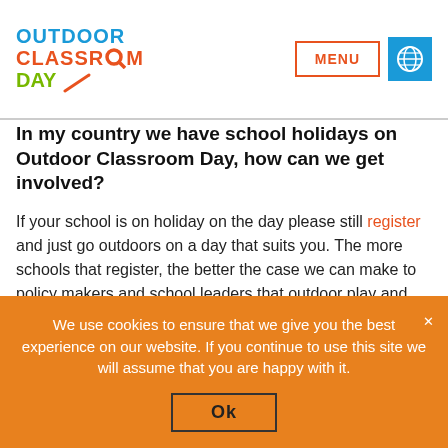OUTDOOR CLASSROOM DAY | MENU | Globe icon
In my country we have school holidays on Outdoor Classroom Day, how can we get involved?
If your school is on holiday on the day please still register and just go outdoors on a day that suits you. The more schools that register, the better the case we can make to policy makers and school leaders that outdoor play and learning should be part of every school day.
We use cookies to ensure that we give you the best experience on our website. If you continue to use this site we will assume that you are happy with it.
Ok